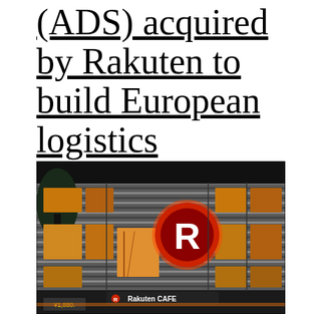(ADS) acquired by Rakuten to build European logistics
[Figure (photo): Night-time photograph of a Rakuten building facade with illuminated windows, horizontal metallic striped exterior, a large circular Rakuten logo in red with a white 'R', and a Rakuten CAFE sign at ground level with a price display showing ¥1,880]